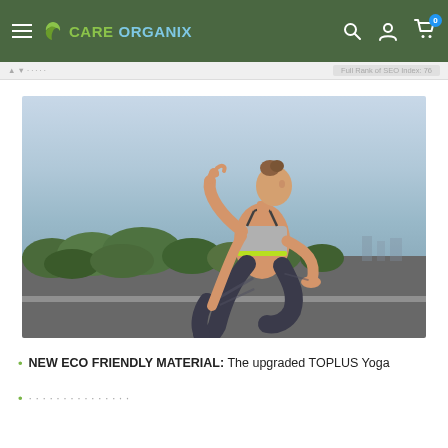CARE ORGANIX
[Figure (photo): Woman in yoga pose on rooftop, wearing grey sports bra and patterned yoga pants, with trees and cityscape in background]
NEW ECO FRIENDLY MATERIAL: The upgraded TOPLUS Yoga
(partially visible second list item)